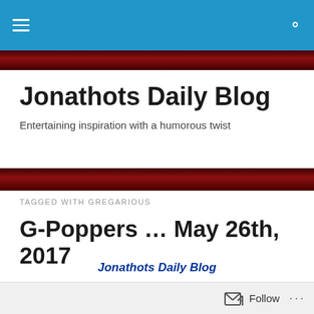Jonathots Daily Blog — navigation bar
Jonathots Daily Blog
Entertaining inspiration with a humorous twist
TAGGED WITH GREGARIOUS
G-Poppers … May 26th, 2017
Jonathots Daily Blog
(3319)
Follow